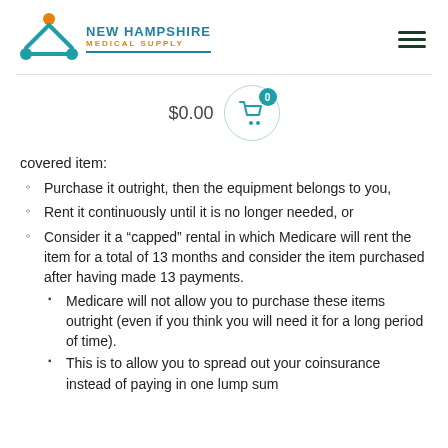[Figure (logo): New Hampshire Medical Supply logo with teal and orange medical symbol and teal/orange text]
[Figure (other): Hamburger menu icon (three dark horizontal lines)]
[Figure (other): Shopping cart icon with teal outline showing $0.00 and a badge showing 0]
covered item:
Purchase it outright, then the equipment belongs to you,
Rent it continuously until it is no longer needed, or
Consider it a “capped” rental in which Medicare will rent the item for a total of 13 months and consider the item purchased after having made 13 payments.
Medicare will not allow you to purchase these items outright (even if you think you will need it for a long period of time).
This is to allow you to spread out your coinsurance instead of paying in one lump sum